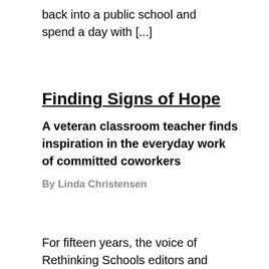back into a public school and spend a day with [...]
Finding Signs of Hope
A veteran classroom teacher finds inspiration in the everyday work of committed coworkers
By Linda Christensen
For fifteen years, the voice of Rethinking Schools editors and